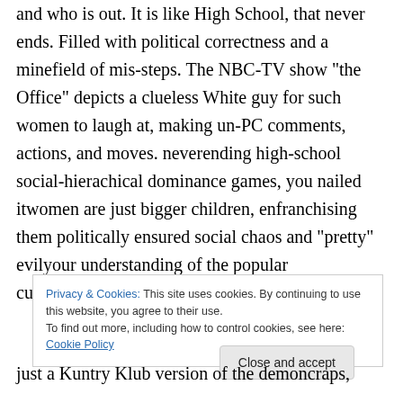and who is out. It is like High School, that never ends. Filled with political correctness and a minefield of mis-steps. The NBC-TV show "the Office" depicts a clueless White guy for such women to laugh at, making un-PC comments, actions, and moves. neverending high-school social-hierachical dominance games, you nailed itwomen are just bigger children, enfranchising them politically ensured social chaos and "pretty" evilyour understanding of the popular culture/politics interface is sophisticated.
Privacy & Cookies: This site uses cookies. By continuing to use this website, you agree to their use. To find out more, including how to control cookies, see here: Cookie Policy
Close and accept
just a Kuntry Klub version of the demoncraps,